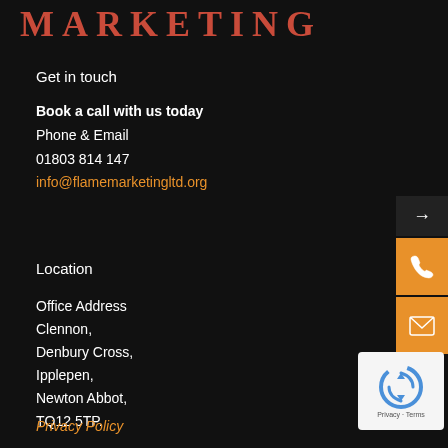MARKETING
Get in touch
Book a call with us today
Phone & Email
01803 814 147
info@flamemarketingltd.org
Location
Office Address
Clennon,
Denbury Cross,
Ipplepen,
Newton Abbot,
TQ12 5TP.
Privacy Policy